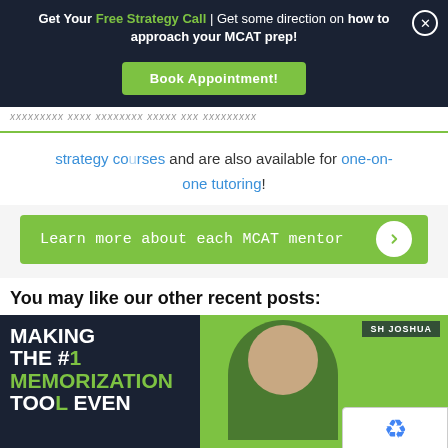Get Your Free Strategy Call | Get some direction on how to approach your MCAT prep! Book Appointment!
strategy courses and are also available for one-on-one tutoring!
Learn more about each MCAT mentor →
You may like our other recent posts:
[Figure (photo): Promotional image with dark background and green background, showing text: MAKING THE #1 MEMORIZATION TOOL EVEN, with a person visible on the right side.]